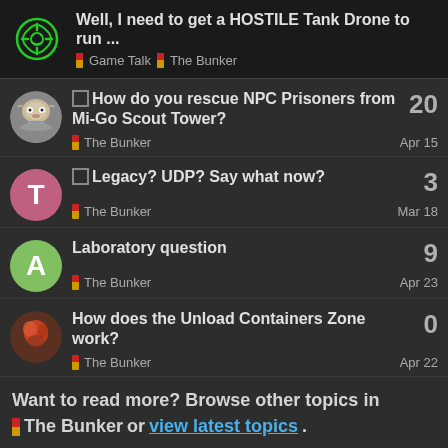Well, I need to get a HOSTILE Tank Drone to run ... | Game Talk | The Bunker
How do you rescue NPC Prisoners from Mi-Go Scout Tower? | The Bunker | Apr 15 | 20 replies
Legacy? UDP? Say what now? | The Bunker | Mar 18 | 3 replies
Laboratory question | The Bunker | Apr 23 | 9 replies
How does the Unload Containers Zone work? | The Bunker | Apr 22 | 0 replies
Want to read more? Browse other topics in The Bunker or view latest topics.